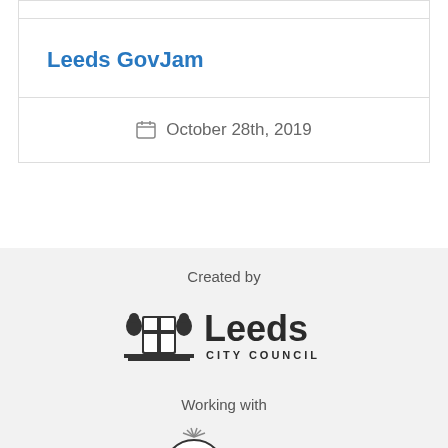Leeds GovJam
October 28th, 2019
Created by
[Figure (logo): Leeds City Council logo with coat of arms and text 'Leeds CITY COUNCIL']
Working with
[Figure (logo): Node Leeds logo - circular NODE badge with LEEDS square badge]